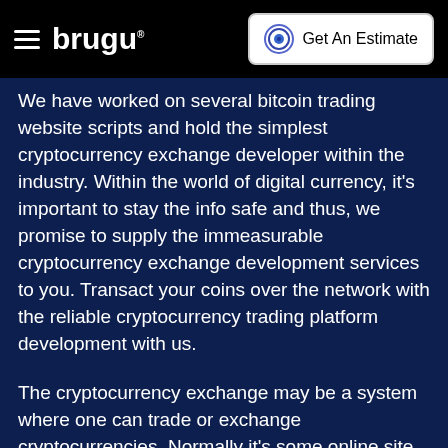brugu — Get An Estimate
We have worked on several bitcoin trading website scripts and hold the simplest cryptocurrency exchange developer within the industry. Within the world of digital currency, it's important to stay the info safe and thus, we promise to supply the immeasurable cryptocurrency exchange development services to you. Transact your coins over the network with the reliable cryptocurrency trading platform development with us.
The cryptocurrency exchange may be a system where one can trade or exchange cryptocurrencies. Normally it's some online site. Here you'll easily trade cryptocurrencies with traditional currencies or digital assets. A